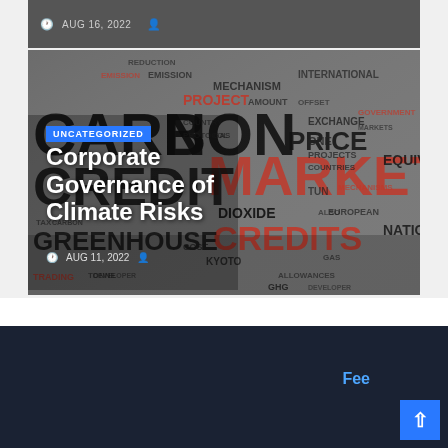AUG 16, 2022
[Figure (illustration): Word cloud image featuring carbon credit and climate market terms like CARBON, MARKET, GREENHOUSE, CREDITS, EMISSION, PROJECT, PRICE, etc. in red and dark typography on a grey background]
UNCATEGORIZED
Corporate Governance of Climate Risks
AUG 11, 2022
Carbon Credit